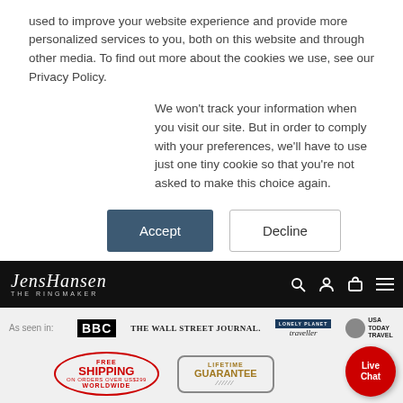used to improve your website experience and provide more personalized services to you, both on this website and through other media. To find out more about the cookies we use, see our Privacy Policy.
We won't track your information when you visit our site. But in order to comply with your preferences, we'll have to use just one tiny cookie so that you're not asked to make this choice again.
Accept
Decline
[Figure (logo): Jens Hansen The Ringmaker logo on black navigation bar with search, account, cart and menu icons]
[Figure (infographic): As seen in: BBC, The Wall Street Journal, Lonely Planet traveller, USA Today Travel logos]
[Figure (infographic): Free Shipping Worldwide on orders over US$299 badge and Lifetime Guarantee badge, and Live Chat button]